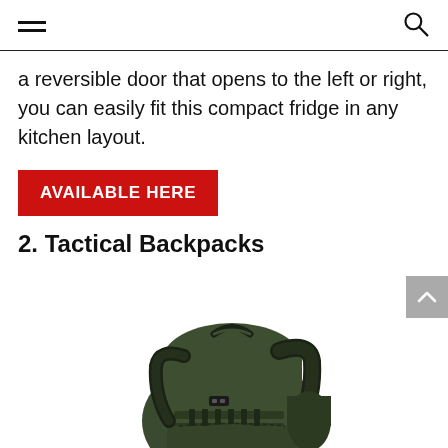[hamburger menu icon] [search icon]
a reversible door that opens to the left or right, you can easily fit this compact fridge in any kitchen layout.
AVAILABLE HERE
2. Tactical Backpacks
[Figure (photo): A green tactical military backpack with MOLLE webbing, multiple compartments, padded shoulder straps, and side pouches.]